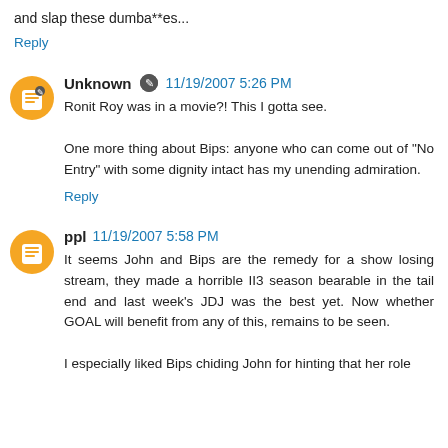and slap these dumba**es...
Reply
Unknown  11/19/2007 5:26 PM
Ronit Roy was in a movie?! This I gotta see.

One more thing about Bips: anyone who can come out of "No Entry" with some dignity intact has my unending admiration.
Reply
ppl  11/19/2007 5:58 PM
It seems John and Bips are the remedy for a show losing stream, they made a horrible II3 season bearable in the tail end and last week's JDJ was the best yet. Now whether GOAL will benefit from any of this, remains to be seen.

I especially liked Bips chiding John for hinting that her role was more significant than it actually turned out to be.